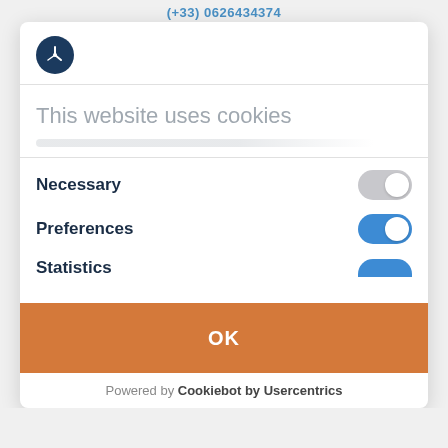(+33) 0626434374
[Figure (logo): Dark navy circular logo with a stylized arrow/compass icon in white]
This website uses cookies
Necessary — toggle OFF (gray)
Preferences — toggle ON (blue)
Statistics — toggle ON (blue, partially visible)
OK
Powered by Cookiebot by Usercentrics